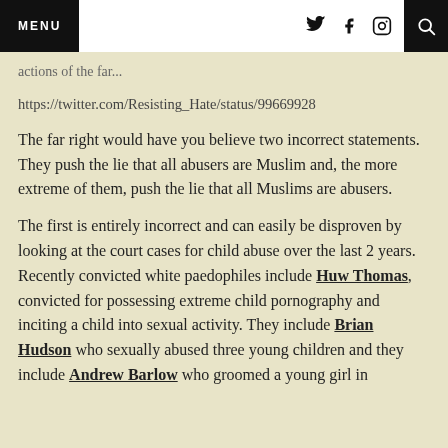MENU
actions of the far...
https://twitter.com/Resisting_Hate/status/99669928...
The far right would have you believe two incorrect statements. They push the lie that all abusers are Muslim and, the more extreme of them, push the lie that all Muslims are abusers.
The first is entirely incorrect and can easily be disproven by looking at the court cases for child abuse over the last 2 years. Recently convicted white paedophiles include Huw Thomas, convicted for possessing extreme child pornography and inciting a child into sexual activity. They include Brian Hudson who sexually abused three young children and they include Andrew Barlow who groomed a young girl in Penhill. This is a list of all the...